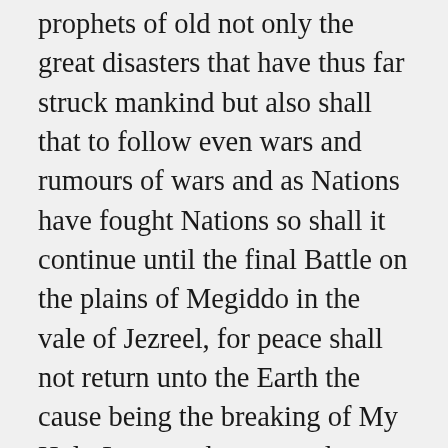prophets of old not only the great disasters that have thus far struck mankind but also shall that to follow even wars and rumours of wars and as Nations have fought Nations so shall it continue until the final Battle on the plains of Megiddo in the vale of Jezreel, for peace shall not return unto the Earth the cause being the breaking of My Holy Laws and commandments and Moral Laws and of the great wickedness of mankind until all that hath been fulfilled and as is so set down and revealed in My Word then the end shall come and My Judgment day shall dawn